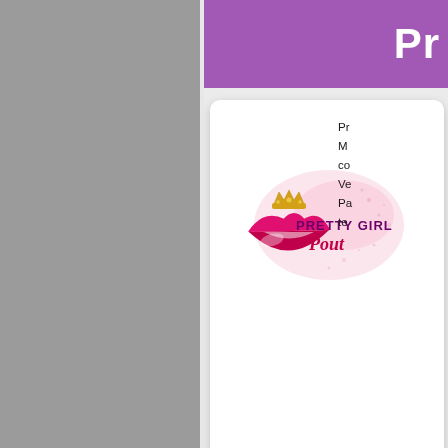Pr
[Figure (logo): Pretty Girl Pout logo with pink lips wearing a gold crown and pink sparkle background, text reads PRETTY GIRL Pout]
Pr M co Ve Pa te
[Figure (logo): Izavie Cosmetics logo in gold gradient lettering with decorative accent marks]
Iz pr ex La Br